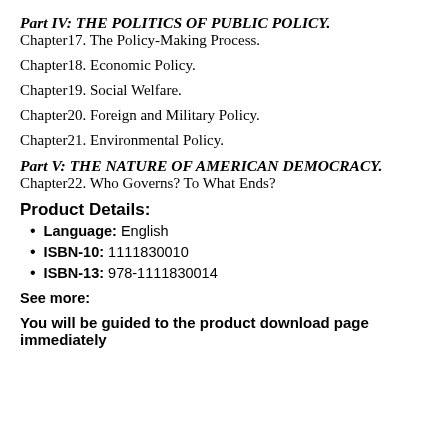Part IV: THE POLITICS OF PUBLIC POLICY.
Chapter17. The Policy-Making Process.
Chapter18. Economic Policy.
Chapter19. Social Welfare.
Chapter20. Foreign and Military Policy.
Chapter21. Environmental Policy.
Part V: THE NATURE OF AMERICAN DEMOCRACY.
Chapter22. Who Governs? To What Ends?
Product Details:
Language: English
ISBN-10: 1111830010
ISBN-13: 978-1111830014
See more:
You will be guided to the product download page immediately